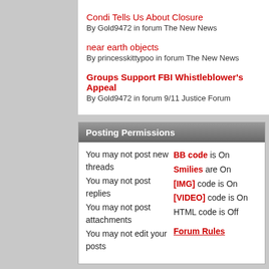Condi Tells Us About Closure
By Gold9472 in forum The New News
near earth objects
By princesskittypoo in forum The New News
Groups Support FBI Whistleblower's Appeal
By Gold9472 in forum 9/11 Justice Forum
Posting Permissions
You may not post new threads
You may not post replies
You may not post attachments
You may not edit your posts
BB code is On
Smilies are On
[IMG] code is On
[VIDEO] code is On
HTML code is Off
Forum Rules
-- vB4 Default Style
All times are GMT -4. The time now is 10:0
Powered by vBulletin® Version 4.2.5
Copyright © 2022 vBulletin Solutions Inc. All righ